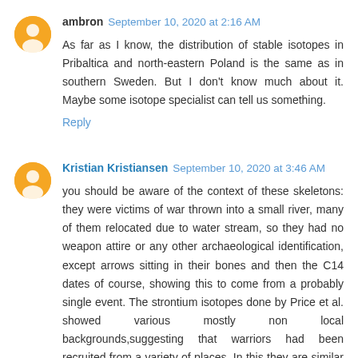ambron September 10, 2020 at 2:16 AM
As far as I know, the distribution of stable isotopes in Pribaltica and north-eastern Poland is the same as in southern Sweden. But I don't know much about it. Maybe some isotope specialist can tell us something.
Reply
Kristian Kristiansen September 10, 2020 at 3:46 AM
you should be aware of the context of these skeletons: they were victims of war thrown into a small river, many of them relocated due to water stream, so they had no weapon attire or any other archaeological identification, except arrows sitting in their bones and then the C14 dates of course, showing this to come from a probably single event. The strontium isotopes done by Price et al. showed various mostly non local backgrounds,suggesting that warriors had been recruited from a variety of places. In this they are similar to Viking Age retinues from warrior cemeteries